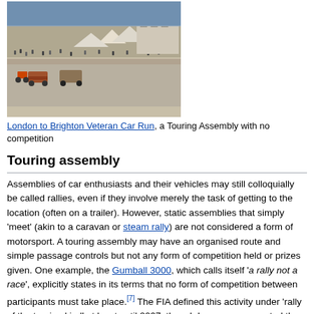[Figure (photo): Aerial view of London to Brighton Veteran Car Run event, showing vehicles and crowds on a coastal road]
London to Brighton Veteran Car Run, a Touring Assembly with no competition
Touring assembly
Assemblies of car enthusiasts and their vehicles may still colloquially be called rallies, even if they involve merely the task of getting to the location (often on a trailer). However, static assemblies that simply 'meet' (akin to a caravan or steam rally) are not considered a form of motorsport. A touring assembly may have an organised route and simple passage controls but not any form of competition held or prizes given. One example, the Gumball 3000, which calls itself 'a rally not a race', explicitly states in its terms that no form of competition between participants must take place. [7] The FIA defined this activity under 'rally of the touring kind' at least until 2007, though have now separated the term 'Touring Assembly' without using the word rally in its definition.[8][1]
Rally derivatives